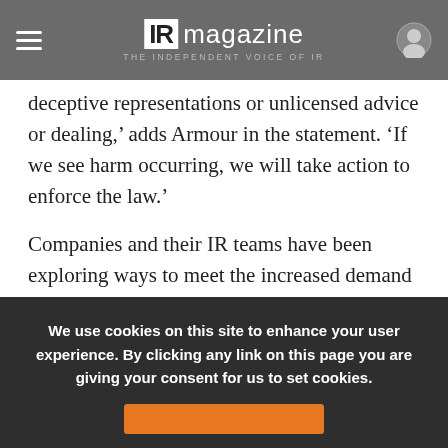IR magazine — THE INDEPENDENT VOICE OF IR
deceptive representations or unlicensed advice or dealing,' adds Armour in the statement. 'If we see harm occurring, we will take action to enforce the law.'
Companies and their IR teams have been exploring ways to meet the increased demand for information from retail holders. Some have turned to technology to help get their message to…
We use cookies on this site to enhance your user experience. By clicking any link on this page you are giving your consent for us to set cookies.